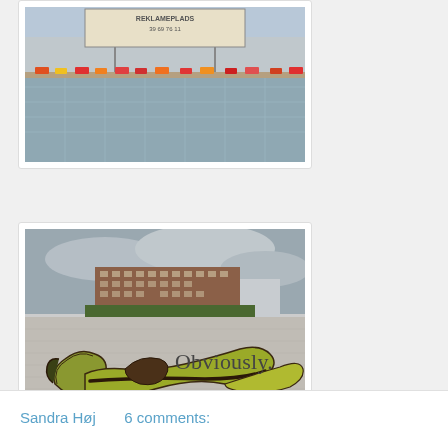[Figure (photo): Photo of a building facade with a billboard sign reading 'REKLAMEPLADS 39 69 76 11' and colorful flower boxes visible along a railing or balcony.]
[Figure (photo): Photo of a discarded banana peel lying on a stone pavement in an urban plaza, with a large multi-story building and trees in the background under a cloudy sky.]
Obviously.
Sandra Høj     6 comments: